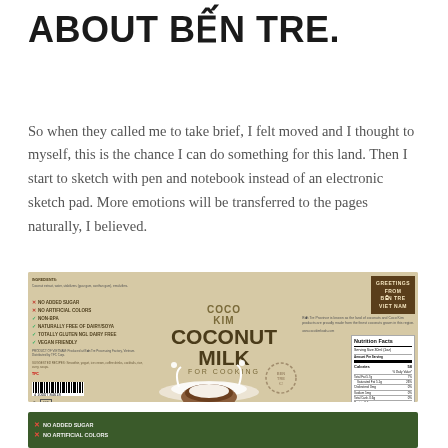ABOUT BẾN TRE.
So when they called me to take brief, I felt moved and I thought to myself, this is the chance I can do something for this land. Then I start to sketch with pen and notebook instead of an electronic sketch pad. More emotions will be transferred to the pages naturally, I believed.
[Figure (photo): Product label for Coco Kim Coconut Milk for Cooking, showing a kraft/beige colored label with product name in large bold type, coconut imagery, features list, nutrition facts panel, and greetings from Bến Tre Vietnam text.]
[Figure (photo): Partial view of a second green product label, partially cut off at the bottom of the page.]